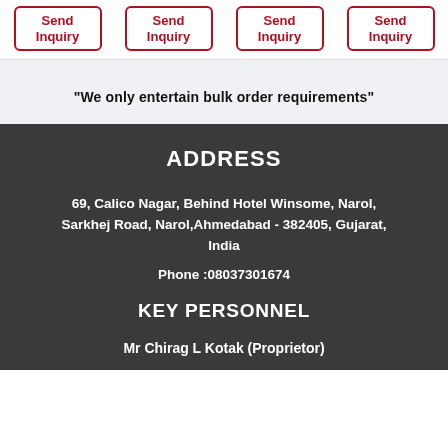Send Inquiry
Send Inquiry
Send Inquiry
Send Inquiry
"We only entertain bulk order requirements"
ADDRESS
69, Calico Nagar, Behind Hotel Winsome, Narol, Sarkhej Road, Narol,Ahmedabad - 382405, Gujarat, India
Phone :08037301674
KEY PERSONNEL
Mr Chirag L Kotak (Proprietor)